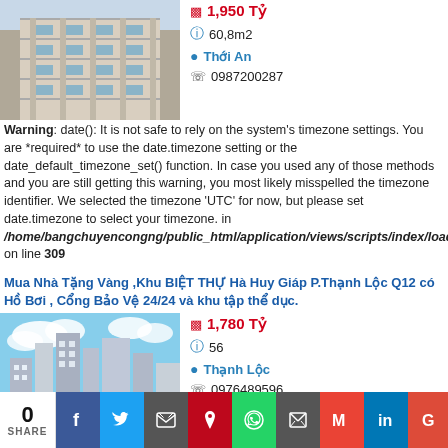[Figure (photo): Photo of a multi-story building facade with balconies]
1,950 Tỷ
60,8m2
Thới An
0987200287
Warning: date(): It is not safe to rely on the system's timezone settings. You are *required* to use the date.timezone setting or the date_default_timezone_set() function. In case you used any of those methods and you are still getting this warning, you most likely misspelled the timezone identifier. We selected the timezone 'UTC' for now, but please set date.timezone to select your timezone. in /home/bangchuyencongng/public_html/application/views/scripts/index/load on line 309
Mua Nhà Tặng Vàng ,Khu BIỆT THỰ Hà Huy Giáp P.Thạnh Lộc Q12 có Hồ Bơi , Cổng Bảo Vệ 24/24 và khu tập thể dục.
[Figure (photo): Photo of modern high-rise buildings with blue sky and clouds]
1,780 Tỷ
56
Thạnh Lộc
0976489596
0 SHARE | Facebook | Twitter | Email | Pinterest | WhatsApp | Print | Gmail | LinkedIn | Google+ | More